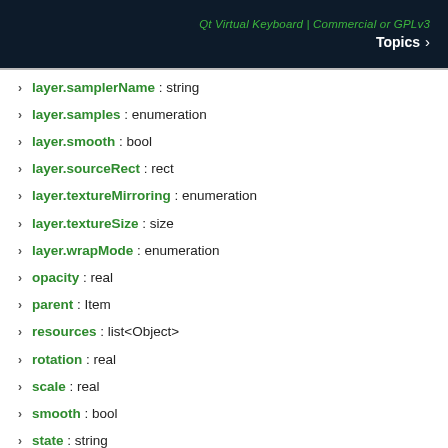Qt Virtual Keyboard | Commercial or GPLv3
Topics
layer.samplerName : string
layer.samples : enumeration
layer.smooth : bool
layer.sourceRect : rect
layer.textureMirroring : enumeration
layer.textureSize : size
layer.wrapMode : enumeration
opacity : real
parent : Item
resources : list<Object>
rotation : real
scale : real
smooth : bool
state : string
states : list<State>